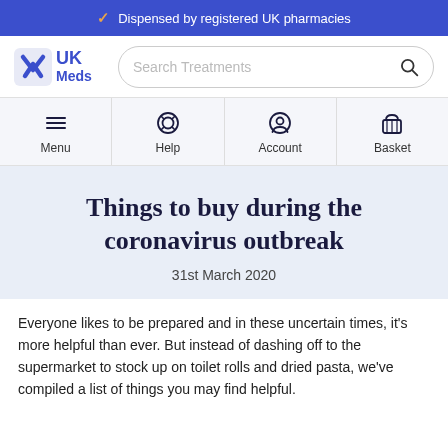Dispensed by registered UK pharmacies
[Figure (logo): UK Meds logo with a blue X cross icon and bold blue text reading UK Meds]
Search Treatments
[Figure (infographic): Navigation row with four items: Menu (hamburger icon), Help (life ring icon), Account (person circle icon), Basket (basket icon)]
Things to buy during the coronavirus outbreak
31st March 2020
Everyone likes to be prepared and in these uncertain times, it's more helpful than ever. But instead of dashing off to the supermarket to stock up on toilet rolls and dried pasta, we've compiled a list of things you may find helpful.